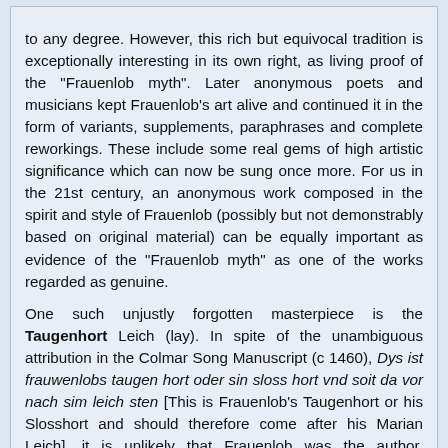to any degree. However, this rich but equivocal tradition is exceptionally interesting in its own right, as living proof of the "Frauenlob myth". Later anonymous poets and musicians kept Frauenlob's art alive and continued it in the form of variants, supplements, paraphrases and complete reworkings. These include some real gems of high artistic significance which can now be sung once more. For us in the 21st century, an anonymous work composed in the spirit and style of Frauenlob (possibly but not demonstrably based on original material) can be equally important as evidence of the "Frauenlob myth" as one of the works regarded as genuine.

One such unjustly forgotten masterpiece is the Taugenhort Leich (lay). In spite of the unambiguous attribution in the Colmar Song Manuscript (c 1460), Dys ist frauwenlobs taugen hort oder sin sloss hort vnd soit da vor nach sim leich sten [This is Frauenlob's Taugenhort or his Slosshort and should therefore come after his Marian Leich], it is unlikely that Frauenlob was the author, although this does not in any way detract from the work's moving effect and artistic aura. With 912 lines arranged in 25 double